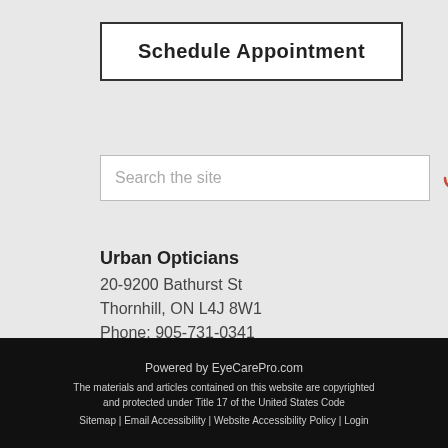Schedule Appointment
Search the site
Urban Opticians
20-9200 Bathurst St
Thornhill, ON L4J 8W1
Phone: 905-731-0341
https://www.urbanopticiansinc.com
Powered by EyeCarePro.com
The materials and articles contained on this website are copyrighted and protected under Title 17 of the United States Code
Sitemap | Email Accessibility | Website Accessibility Policy | Login